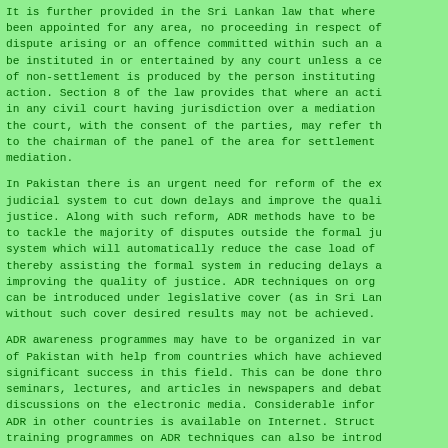It is further provided in the Sri Lankan law that where been appointed for any area, no proceeding in respect of dispute arising or an offence committed within such an a be instituted in or entertained by any court unless a ce of non-settlement is produced by the person instituting action. Section 8 of the law provides that where an acti in any civil court having jurisdiction over a mediation the court, with the consent of the parties, may refer th to the chairman of the panel of the area for settlement mediation.
In Pakistan there is an urgent need for reform of the ex judicial system to cut down delays and improve the quali justice. Along with such reform, ADR methods have to be to tackle the majority of disputes outside the formal ju system which will automatically reduce the case load of thereby assisting the formal system in reducing delays a improving the quality of justice. ADR techniques on org can be introduced under legislative cover (as in Sri Lan without such cover desired results may not be achieved.
ADR awareness programmes may have to be organized in va of Pakistan with help from countries which have achieved significant success in this field. This can be done thro seminars, lectures, and articles in newspapers and deba discussions on the electronic media. Considerable infor ADR in other countries is available on Internet. Struct training programmes on ADR techniques can also be intro lawyers and judges. Awareness programmes will create th of climate for introducing ADR methods under statutory c